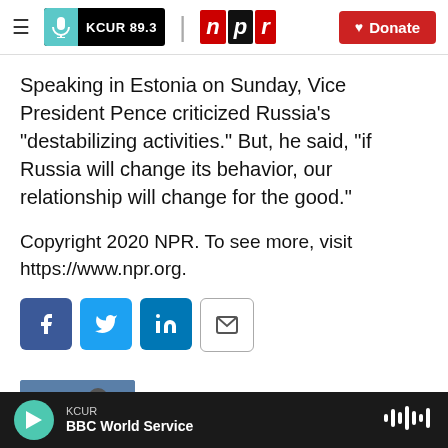KCUR 89.3 | npr | Donate
Speaking in Estonia on Sunday, Vice President Pence criticized Russia's "destabilizing activities." But, he said, "if Russia will change its behavior, our relationship will change for the good."
Copyright 2020 NPR. To see more, visit https://www.npr.org.
[Figure (infographic): Social share buttons: Facebook (blue), Twitter (blue), LinkedIn (blue), Email (white with border)]
[Figure (photo): Author photo of Camila Domonoske]
Camila Domonoske
KCUR BBC World Service